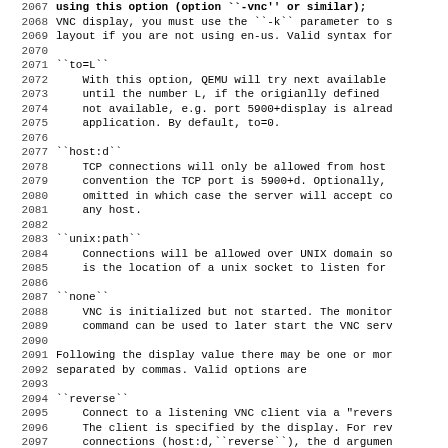2067: using this option (option ``-vnc'' or similar);
2068: VNC display, you must use the ``-k`` parameter to s
2069: layout if you are not using en-us. Valid syntax for
2070: (blank)
2071: ``to=L``
2072: With this option, QEMU will try next available
2073: until the number L, if the origianlly defined
2074: not available, e.g. port 5900+display is alread
2075: application. By default, to=0.
2076: (blank)
2077: ``host:d``
2078: TCP connections will only be allowed from host
2079: convention the TCP port is 5900+d. Optionally,
2080: omitted in which case the server will accept co
2081: any host.
2082: (blank)
2083: ``unix:path``
2084: Connections will be allowed over UNIX domain so
2085: is the location of a unix socket to listen for
2086: (blank)
2087: ``none``
2088: VNC is initialized but not started. The monitor
2089: command can be used to later start the VNC serv
2090: (blank)
2091: Following the display value there may be one or mor
2092: separated by commas. Valid options are
2093: (blank)
2094: ``reverse``
2095: Connect to a listening VNC client via a "revers
2096: The client is specified by the display. For rev
2097: connections (host:d,``reverse``), the d argumen
2098: number, not a display number.
2099: (blank)